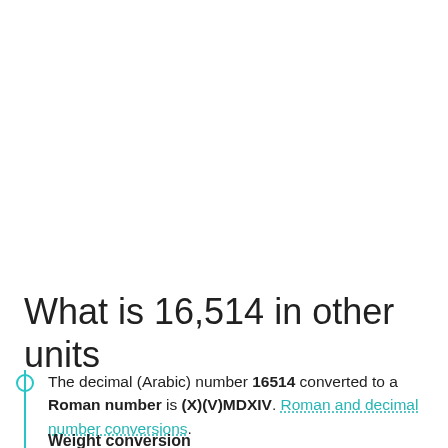What is 16,514 in other units
The decimal (Arabic) number 16514 converted to a Roman number is (X)(V)MDXIV. Roman and decimal number conversions.
Weight conversion